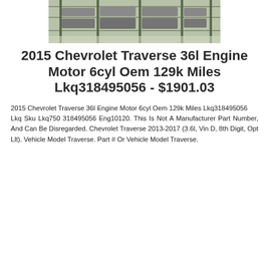[Figure (photo): Warehouse shelving with multiple engines or automotive parts stacked on pallets in an industrial storage facility.]
2015 Chevrolet Traverse 36l Engine Motor 6cyl Oem 129k Miles Lkq318495056 - $1901.03
2015 Chevrolet Traverse 36l Engine Motor 6cyl Oem 129k Miles Lkq318495056
Lkq Sku Lkq750 318495056 Eng10120. This Is Not A Manufacturer Part Number, And Can Be Disregarded. Chevrolet Traverse 2013-2017 (3.6l, Vin D, 8th Digit, Opt Llt). Vehicle Model Traverse. Part # Or Vehicle Model Traverse.